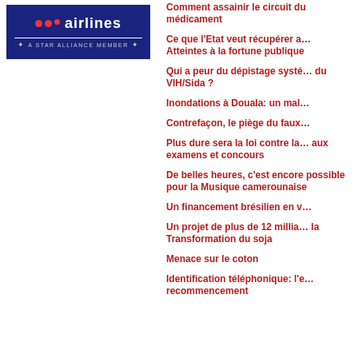[Figure (logo): Brussels Airlines logo with red dots, 'airlines' text in white on dark blue background, A STAR ALLIANCE MEMBER text below]
Comment assainir le circuit du médicament
Ce que l'Etat veut récupérer a… Atteintes à la fortune publique
Qui a peur du dépistage systé… du VIH/Sida ?
Inondations à Douala: un mal…
Contrefaçon, le piège du faux…
Plus dure sera la loi contre la… aux examens et concours
De belles heures, c'est encore possible pour la Musique camerounaise
Un financement brésilien en v…
Un projet de plus de 12 millia… la Transformation du soja
Menace sur le coton
Identification téléphonique: l'e… recommencement